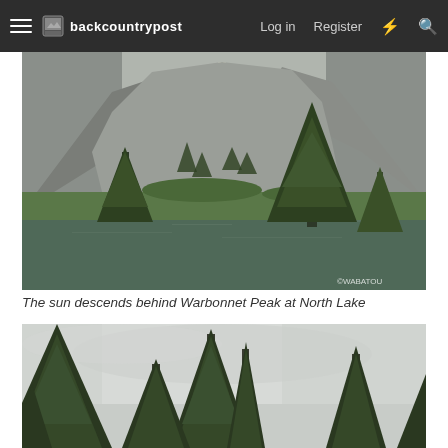backcountrypost — Log in | Register
[Figure (photo): Mountain lake scene: sun rays burst over rocky peaks, evergreen trees in foreground, alpine lake reflecting greenery, rocky slopes on both sides. Watermark: ©WABATOU]
The sun descends behind Warbonnet Peak at North Lake
[Figure (photo): Tall evergreen conifer trees silhouetted against a pale overcast sky, viewed from below looking up.]